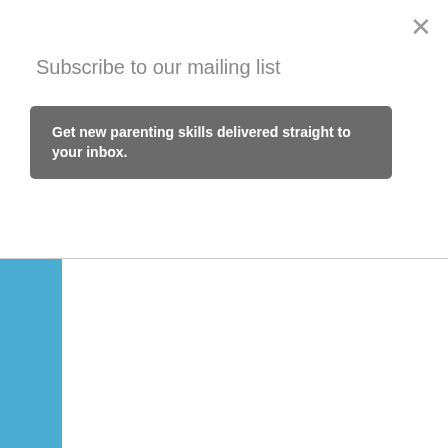×
Subscribe to our mailing list
Get new parenting skills delivered straight to your inbox.
Anonymous said...
My son, who's 14, times per day. I ha through them, wal Concerta, Risperd.
When he was your manipulate his wa confidence. He ha avoids them by sta has a lousy Autism was diagnosed at a OCD. My husband were part of an As and is easily mani identical.
I sometime feel li